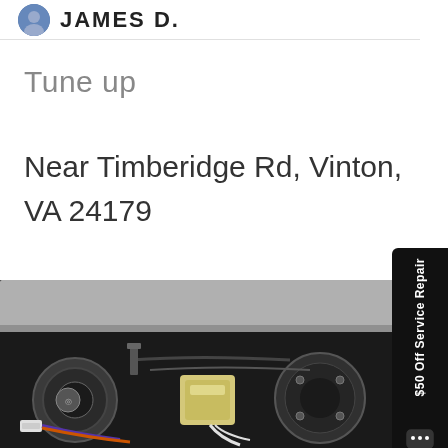JAMES D.
Tune up
Near Timberidge Rd, Vinton, VA 24179
[Figure (photo): Close-up photo of automotive engine components, showing various mechanical parts including what appears to be sensors, wiring, and engine bay components in dark tones]
[Figure (other): Sidebar button: $50 Off Service Repair with chat icon, black background, rotated text]